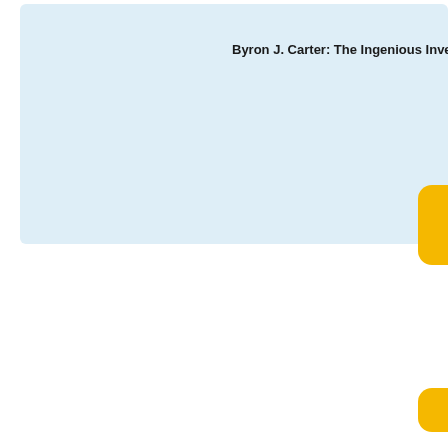Byron J. Carter: The Ingenious Invento
[Figure (illustration): Light blue rounded rectangle background panel occupying upper portion of the page, with a gold/yellow pill-shaped element on the right edge]
[Figure (illustration): Gold/yellow pill-shaped decorative element on the right edge near the bottom of the page]